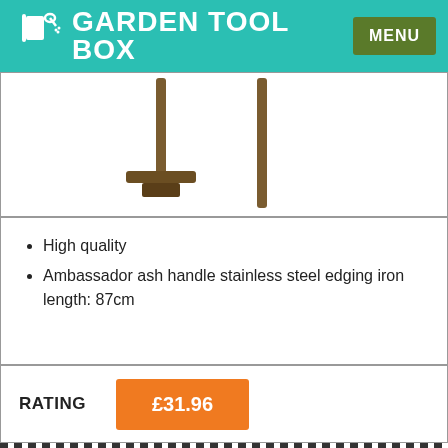GARDEN TOOL BOX | MENU
[Figure (photo): Two garden edging irons with wooden handles — one T-shaped edging iron on the left and one straight-handled edging tool on the right, shown against a white background.]
High quality
Ambassador ash handle stainless steel edging iron length: 87cm
RATING  £31.96
IMAGE
Spear & Jackson 2164NS Select Carbon Steel Edging Iron